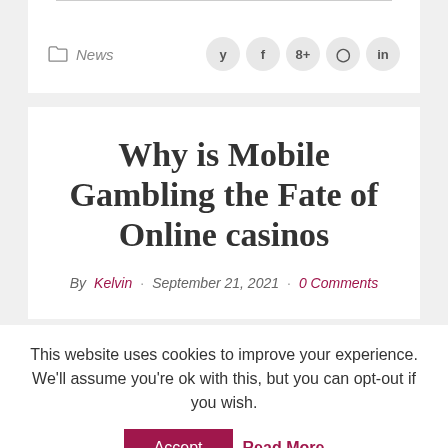News
Why is Mobile Gambling the Fate of Online casinos
By Kelvin · September 21, 2021 · 0 Comments
This website uses cookies to improve your experience. We'll assume you're ok with this, but you can opt-out if you wish.